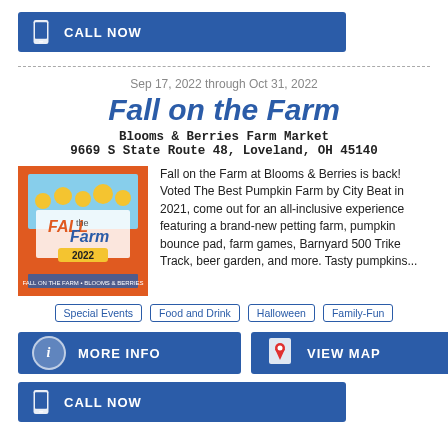[Figure (other): CALL NOW blue button with phone icon at top]
Sep 17, 2022 through Oct 31, 2022
Fall on the Farm
Blooms & Berries Farm Market
9669 S State Route 48, Loveland, OH 45140
[Figure (photo): Fall on the Farm 2022 event image with orange background showing farm scene and text]
Fall on the Farm at Blooms & Berries is back! Voted The Best Pumpkin Farm by City Beat in 2021, come out for an all-inclusive experience featuring a brand-new petting farm, pumpkin bounce pad, farm games, Barnyard 500 Trike Track, beer garden, and more. Tasty pumpkins...
Special Events
Food and Drink
Halloween
Family-Fun
[Figure (other): MORE INFO blue button with info icon]
[Figure (other): VIEW MAP blue button with map pin icon]
[Figure (other): CALL NOW blue button with phone icon at bottom]